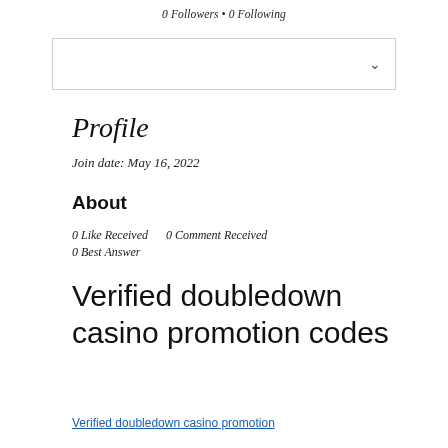0 Followers • 0 Following
[Figure (other): Dropdown selector box with chevron arrow]
Profile
Join date: May 16, 2022
About
0 Like Received    0 Comment Received
0 Best Answer
Verified doubledown casino promotion codes
Verified doubledown casino promotion